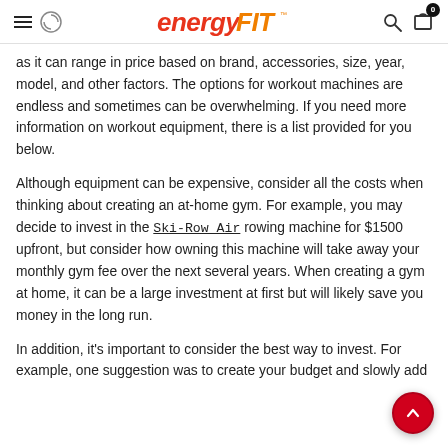EnergyFit
as it can range in price based on brand, accessories, size, year, model, and other factors. The options for workout machines are endless and sometimes can be overwhelming. If you need more information on workout equipment, there is a list provided for you below.
Although equipment can be expensive, consider all the costs when thinking about creating an at-home gym. For example, you may decide to invest in the Ski-Row Air rowing machine for $1500 upfront, but consider how owning this machine will take away your monthly gym fee over the next several years. When creating a gym at home, it can be a large investment at first but will likely save you money in the long run.
In addition, it's important to consider the best way to invest. For example, one suggestion was to create your budget and slowly add...